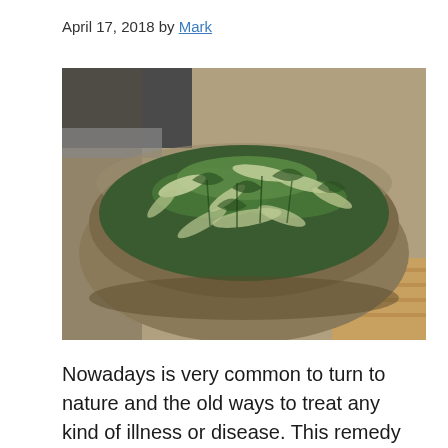April 17, 2018 by Mark
[Figure (photo): A large wooden bowl filled with fresh green and white olive leaves or similar herb leaves, photographed from above at an angle, with kitchen/wooden surface background.]
Nowadays is very common to turn to nature and the old ways to treat any kind of illness or disease. This remedy seems to be as old as man and is considered to be an ancient remedy for all diseases.  Ever since the